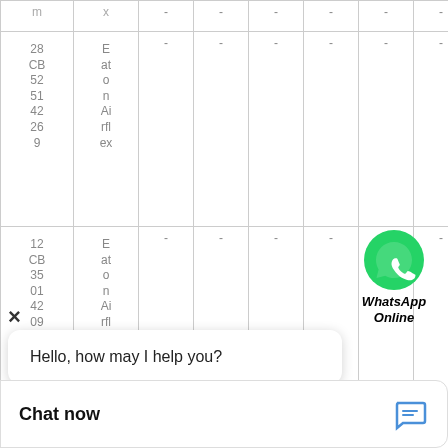| m | x | - | - | - | - | - | - | - | - |
| 28 CB 52 51 42 26 9 | E at o n Ai rfl ex | - | - | - | - | - | - | - | - |
| 12 CB 35 01 42 09 | E at o n Ai rfl | - | - | - | - | - | - | - | - |
| 26 | E | - | - | - | - | - | - | - | - |
[Figure (logo): WhatsApp logo (green circle with phone icon) and text 'WhatsApp Online' in bold italic]
Hello, how may I help you?
Chat now